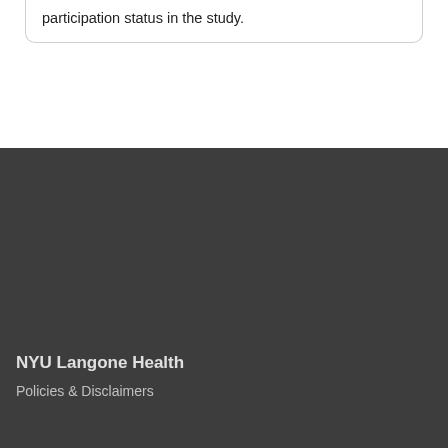participation status in the study.
NYU Langone Health
Policies & Disclaimers
Make a Gift »
Powered By TrialX connect